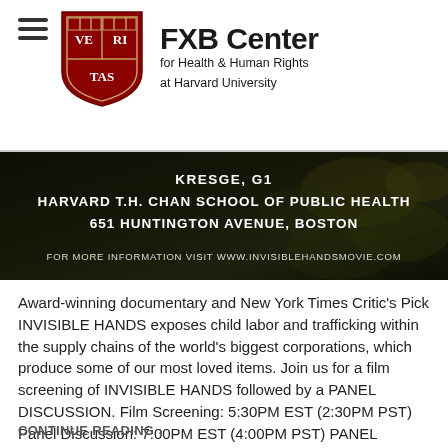[Figure (logo): FXB Center for Health & Human Rights at Harvard University logo with Harvard shield]
[Figure (photo): Dark banner image with text: KRESGE, G1 / HARVARD T.H. CHAN SCHOOL OF PUBLIC HEALTH / 651 HUNTINGTON AVENUE, BOSTON / FOR MORE INFORMATION VISIT WWW.INVISIBLEHANDSMOVIE.COM]
Award-winning documentary and New York Times Critic's Pick INVISIBLE HANDS exposes child labor and trafficking within the supply chains of the world's biggest corporations, which produce some of our most loved items. Join us for a film screening of INVISIBLE HANDS followed by a PANEL DISCUSSION. Film Screening: 5:30PM EST (2:30PM PST) Panel Discussion: 7:00PM EST (4:00PM PST) PANEL DETAILS MODERATOR:  Mary Bassett, Director, Harvard FXB Center PANELISTS: Shraysi Tandon,...
CONTINUE READING ›